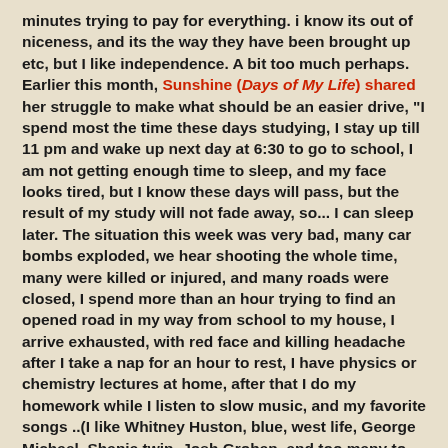minutes trying to pay for everything. i know its out of niceness, and its the way they have been brought up etc, but I like independence. A bit too much perhaps. Earlier this month, Sunshine (Days of My Life) shared her struggle to make what should be an easier drive, "I spend most the time these days studying, I stay up till 11 pm and wake up next day at 6:30 to go to school, I am not getting enough time to sleep, and my face looks tired, but I know these days will pass, but the result of my study will not fade away, so... I can sleep later. The situation this week was very bad, many car bombs exploded, we hear shooting the whole time, many were killed or injured, and many roads were closed, I spend more than an hour trying to find an opened road in my way from school to my house, I arrive exhausted, with red face and killing headache after I take a nap for an hour to rest, I have physics or chemistry lectures at home, after that I do my homework while I listen to slow music, and my favorite songs ..(I like Whitney Huston, blue, west life, George Michael, Shania twin, Josh Groban, and too many to mention, I also like country music a lot, and I hear Arabic and some Iraqi music).."